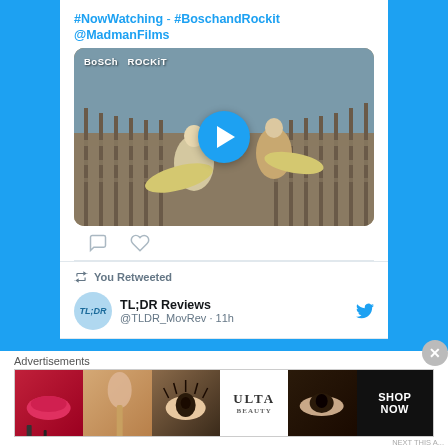#NowWatching - #BoschandRockit
@MadmanFilms
[Figure (screenshot): Video thumbnail showing surfers on a boardwalk with play button overlay; text 'BoSCh ROCKiT' in top left]
You Retweeted
TL;DR Reviews @TLDR_MovRev · 11h
Advertisements
[Figure (photo): ULTA beauty advertisement strip showing makeup products and faces]